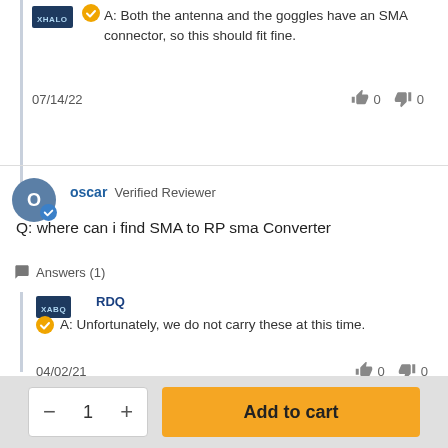A: Both the antenna and the goggles have an SMA connector, so this should fit fine.
07/14/22   👍 0  👎 0
oscar  Verified Reviewer
Q: where can i find SMA to RP sma Converter
Answers (1)
RDQ
A: Unfortunately, we do not carry these at this time.
04/02/21   👍 0  👎 0
- 1 +   Add to cart